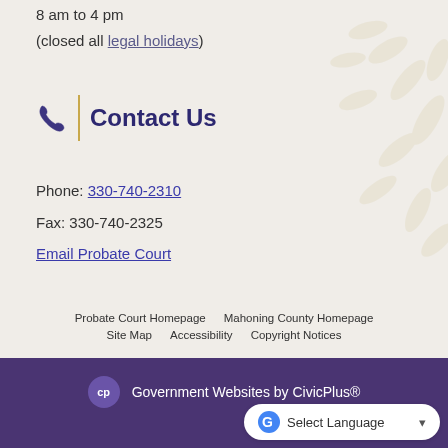8 am to 4 pm
(closed all legal holidays)
Contact Us
Phone: 330-740-2310
Fax: 330-740-2325
Email Probate Court
Probate Court Homepage   Mahoning County Homepage   Site Map   Accessibility   Copyright Notices
Government Websites by CivicPlus®